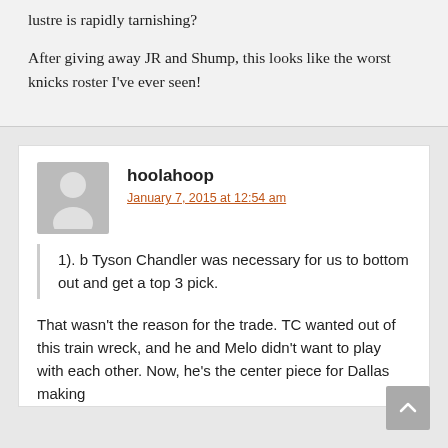lustre is rapidly tarnishing?
After giving away JR and Shump, this looks like the worst knicks roster I've ever seen!
hoolahoop
January 7, 2015 at 12:54 am
1). b Tyson Chandler was necessary for us to bottom out and get a top 3 pick.
That wasn't the reason for the trade. TC wanted out of this train wreck, and he and Melo didn't want to play with each other. Now, he's the center piece for Dallas making